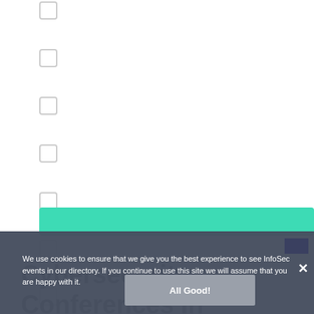☐
☐
☐
☐
☐
☐
☐
[Figure (other): Teal/green button element]
We use cookies to ensure that we give you the best experience to see InfoSec events in our directory. If you continue to use this site we will assume that you are happy with it.
Cybersecurity Conferences In Georgia
All Good!